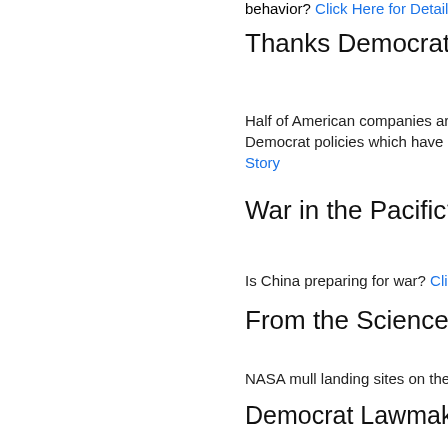behavior? Click Here for Details
Thanks Democrats
Half of American companies are s Democrat policies which have des Story
War in the Pacific?
Is China preparing for war? Click
From the Science Side...
NASA mull landing sites on the m
Democrat Lawmaker Pro
Wife of Oregon lawmaker raked in Here for Story
Saying It Out Loud